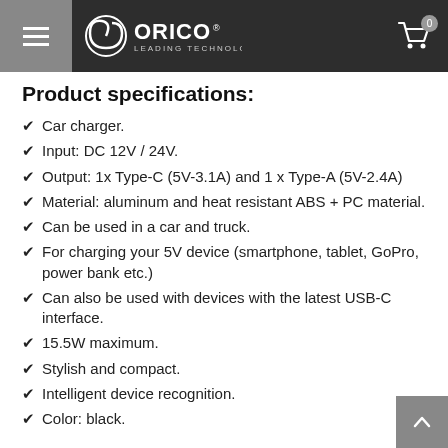ORICO LEADING TECHNOLOGY
Product specifications:
Car charger.
Input: DC 12V / 24V.
Output: 1x Type-C (5V-3.1A) and 1 x Type-A (5V-2.4A)
Material: aluminum and heat resistant ABS + PC material.
Can be used in a car and truck.
For charging your 5V device (smartphone, tablet, GoPro, power bank etc.)
Can also be used with devices with the latest USB-C interface.
15.5W maximum.
Stylish and compact.
Intelligent device recognition.
Color: black.